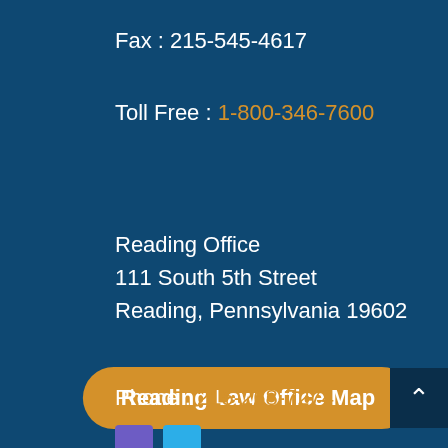Fax : 215-545-4617
Toll Free : 1-800-346-7600
Reading Office
111 South 5th Street
Reading, Pennsylvania 19602
Reading Law Office Map
Phone : 215-268-7274